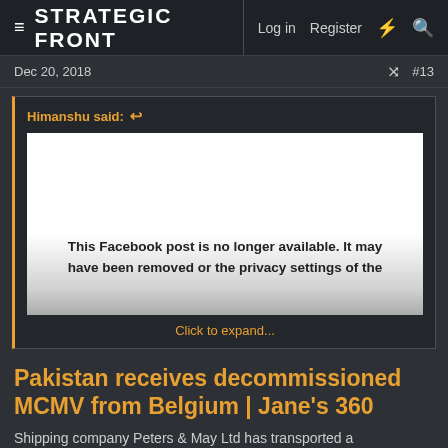STRATEGIC FRONT | Log in | Register
Dec 20, 2018  #13
Himanshu said:
[Figure (screenshot): Facebook post embed placeholder showing white area fading to grey with text: This Facebook post is no longer available. It may have been removed or the privacy settings of the]
Click to expand...
Pakistan receives decommissioned MCMV from Belgium | Jane's 360
Shipping company Peters & May Ltd has transported a decommissioned mine countermeasures vessel (MCMV) from Belgium to Pakistan.